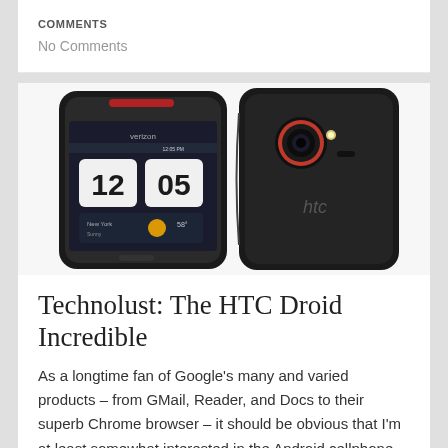COMMENTS
No Comments
[Figure (photo): Two HTC Droid Incredible smartphones shown side by side — front view showing the Verizon-branded screen displaying 12:05 PM with weather widget for New York, and rear view showing the back of the phone with HTC logo and red-ringed camera lens.]
Technolust: The HTC Droid Incredible
As a longtime fan of Google's many and varied products – from GMail, Reader, and Docs to their superb Chrome browser – it should be obvious that I'm at least somewhat interested in the Android cellphone